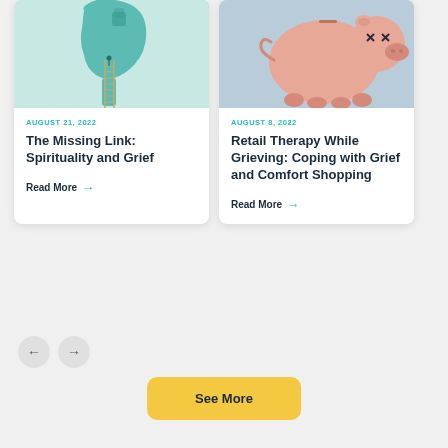[Figure (illustration): Teal/green silhouette of a human head profile with a ladder going through the neck and a puzzle piece missing from the head — symbolizing spirituality and mind]
AUGUST 21, 2022
The Missing Link: Spirituality and Grief
Read More →
[Figure (photo): Pink ceramic piggy bank lying on its side with X marks for eyes on a light blue background — symbolizing financial grief/comfort shopping]
AUGUST 8, 2022
Retail Therapy While Grieving: Coping with Grief and Comfort Shopping
Read More →
See More